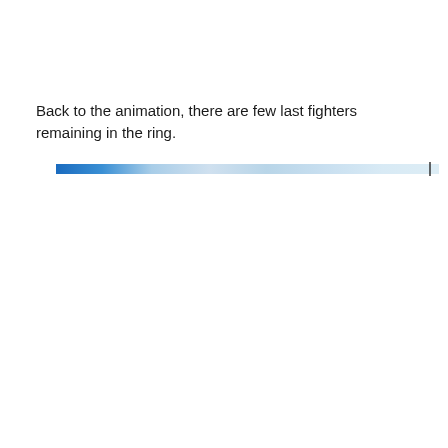Back to the animation, there are few last fighters remaining in the ring.
[Figure (other): A horizontal gradient bar transitioning from solid blue on the left to light blue/grey on the right, with a thin vertical dark cursor line near the right end.]